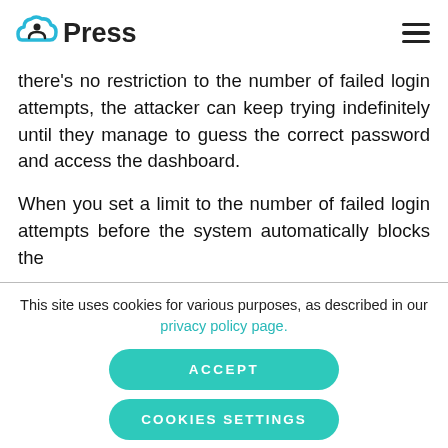ITPress [logo]
there's no restriction to the number of failed login attempts, the attacker can keep trying indefinitely until they manage to guess the correct password and access the dashboard.
When you set a limit to the number of failed login attempts before the system automatically blocks the
This site uses cookies for various purposes, as described in our privacy policy page.
ACCEPT
COOKIES SETTINGS